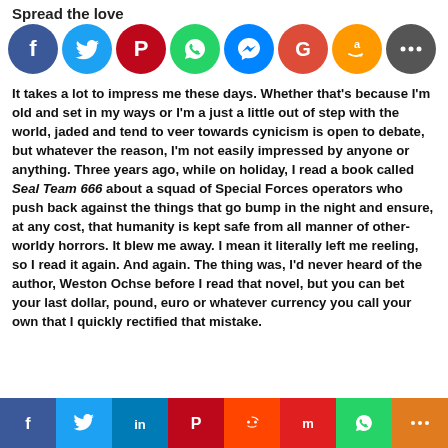Spread the love
[Figure (infographic): Row of social media sharing icons: Facebook (blue), Twitter (light blue), Pinterest (red), WhatsApp (green), Messenger (blue), Google (red), Amazon (yellow/orange), More (grey/black)]
It takes a lot to impress me these days. Whether that's because I'm old and set in my ways or I'm a just a little out of step with the world, jaded and tend to veer towards cynicism is open to debate, but whatever the reason, I'm not easily impressed by anyone or anything. Three years ago, while on holiday, I read a book called Seal Team 666 about a squad of Special Forces operators who push back against the things that go bump in the night and ensure, at any cost, that humanity is kept safe from all manner of other-worldy horrors. It blew me away. I mean it literally left me reeling, so I read it again. And again. The thing was, I'd never heard of the author, Weston Ochse before I read that novel, but you can bet your last dollar, pound, euro or whatever currency you call your own that I quickly rectified that mistake.
[Figure (infographic): Bottom share bar with colored buttons: Facebook (dark blue), Twitter (blue), LinkedIn (blue), Pinterest (red), Reddit (orange-red), Mix (red), WhatsApp (green), More (orange)]